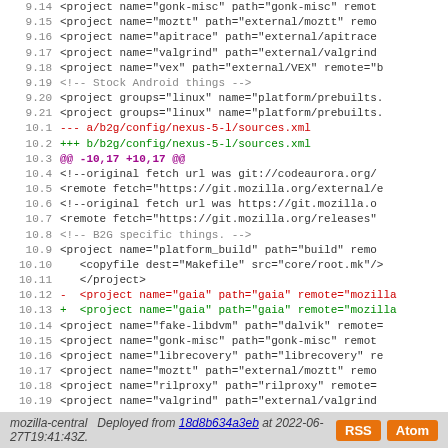Code diff view showing changes to b2g/config/nexus-5-l/sources.xml and related files
mozilla-central  Deployed from 18d8b634a3eb at 2022-06-27T19:41:43Z.  RSS  Atom